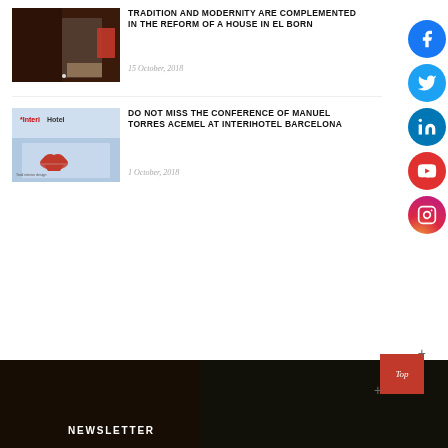TRADITION AND MODERNITY ARE COMPLEMENTED IN THE REFORM OF A HOUSE IN EL BORN
15 October, 2018
DO NOT MISS THE CONFERENCE OF MANUEL TORRES ACEMEL AT INTERIHOTEL BARCELONA
1 October, 2018
[Figure (other): Social media icons: Facebook, Twitter, LinkedIn, YouTube, Instagram]
NEWSLETTER
Top